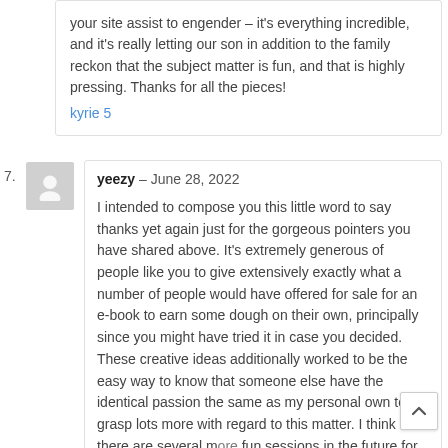your site assist to engender – it's everything incredible, and it's really letting our son in addition to the family reckon that the subject matter is fun, and that is highly pressing. Thanks for all the pieces! kyrie 5
yeezy – June 28, 2022

I intended to compose you this little word to say thanks yet again just for the gorgeous pointers you have shared above. It's extremely generous of people like you to give extensively exactly what a number of people would have offered for sale for an e-book to earn some dough on their own, principally since you might have tried it in case you decided. These creative ideas additionally worked to be the easy way to know that someone else have the identical passion the same as my personal own to grasp lots more with regard to this matter. I think there are several more fun sessions in the future for individuals who seek your site.